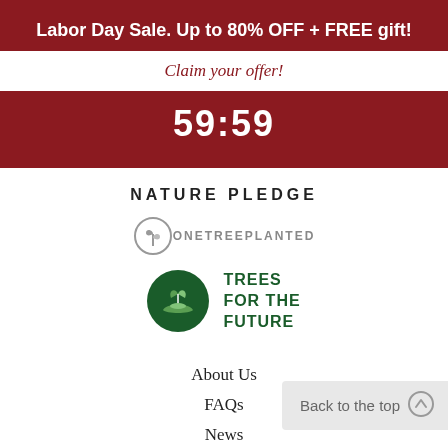Labor Day Sale. Up to 80% OFF + FREE gift!
Claim your offer!
59:59
NATURE PLEDGE
[Figure (logo): OneTreePlanted logo: circle with tree icon and text ONETREEPLANTED]
[Figure (logo): Trees for the Future logo: dark green circle with leaves/hands icon and text TREES FOR THE FUTURE]
About Us
FAQs
News
Terms & Conditions
Back to the top